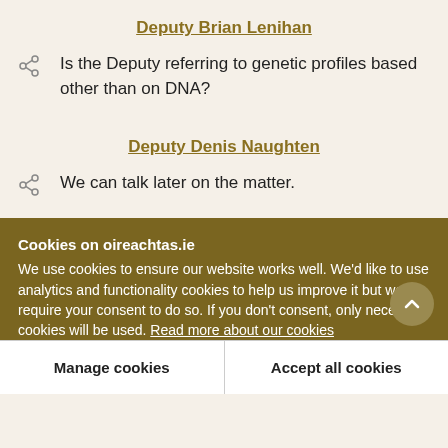Deputy Brian Lenihan
Is the Deputy referring to genetic profiles based other than on DNA?
Deputy Denis Naughten
We can talk later on the matter.
Cookies on oireachtas.ie
We use cookies to ensure our website works well. We'd like to use analytics and functionality cookies to help us improve it but we require your consent to do so. If you don't consent, only necessary cookies will be used. Read more about our cookies
Manage cookies
Accept all cookies